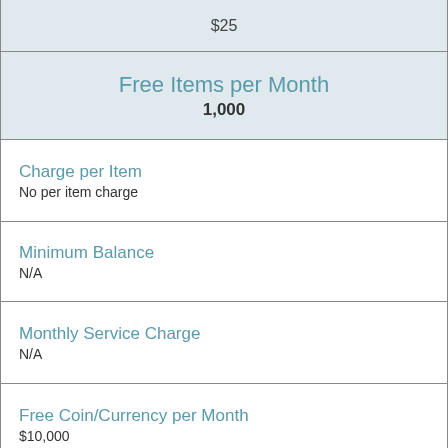| $25 |
| Free Items per Month | 1,000 |
| Charge per Item | No per item charge |
| Minimum Balance | N/A |
| Monthly Service Charge | N/A |
| Free Coin/Currency per Month | $10,000 |
| Interest Rate |  |